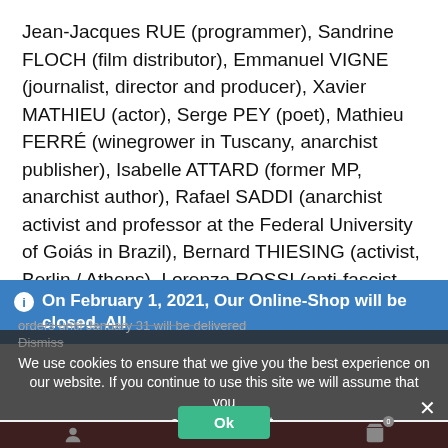Jean-Jacques RUE (programmer), Sandrine FLOCH (film distributor), Emmanuel VIGNE (journalist, director and producer), Xavier MATHIEU (actor), Serge PEY (poet), Mathieu FERRÉ (winegrower in Tuscany, anarchist publisher), Isabelle ATTARD (former MP, anarchist author), Rafael SADDI (anarchist activist and professor at the Federal University of Goiás in Brazil), Bernard THIESING (activist, Berlin / Athens), Lorenza ROSSI (anti-fascist activist), Hazem EL MOUKADDEM (anti-fascist activist), Barbara BAKER (anti-fascist activist), Clément CUSSAC (libertarian activist and social worker), Eric SIRVIN
On February 1, 2021, Our Online-Shop will be closed. All orders until January 31 will be delivered
Dismiss
We use cookies to ensure that we give you the best experience on our website. If you continue to use this site we will assume that you are happy with it.